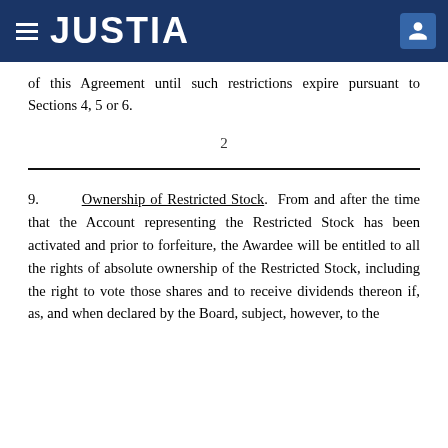JUSTIA
of this Agreement until such restrictions expire pursuant to Sections 4, 5 or 6.
2
9.  Ownership of Restricted Stock.  From and after the time that the Account representing the Restricted Stock has been activated and prior to forfeiture, the Awardee will be entitled to all the rights of absolute ownership of the Restricted Stock, including the right to vote those shares and to receive dividends thereon if, as, and when declared by the Board, subject, however, to the